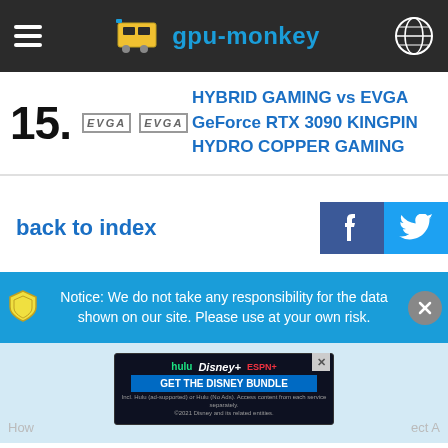gpu-monkey
15. EVGA EVGA — HYBRID GAMING vs EVGA GeForce RTX 3090 KINGPIN HYDRO COPPER GAMING
back to index
Notice: We do not take any responsibility for the data shown on our site. Please use at your own risk.
[Figure (screenshot): Disney Bundle advertisement: Hulu, Disney+, ESPN+ with GET THE DISNEY BUNDLE CTA]